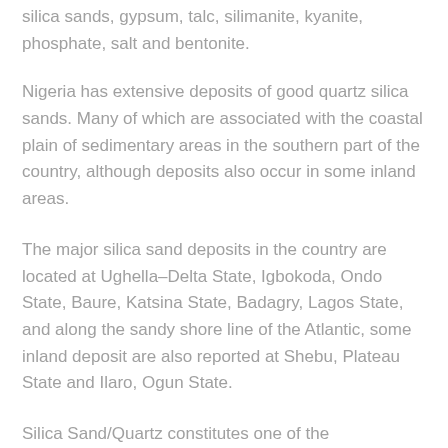silica sands, gypsum, talc, silimanite, kyanite, phosphate, salt and bentonite.
Nigeria has extensive deposits of good quartz silica sands. Many of which are associated with the coastal plain of sedimentary areas in the southern part of the country, although deposits also occur in some inland areas.
The major silica sand deposits in the country are located at Ughella–Delta State, Igbokoda, Ondo State, Baure, Katsina State, Badagry, Lagos State, and along the sandy shore line of the Atlantic, some inland deposit are also reported at Shebu, Plateau State and Ilaro, Ogun State.
Silica Sand/Quartz constitutes one of the